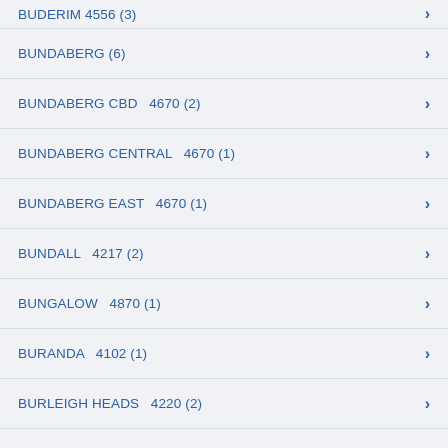BUDERIM  4556 (3)
BUNDABERG  (6)
BUNDABERG CBD  4670 (2)
BUNDABERG CENTRAL  4670 (1)
BUNDABERG EAST  4670 (1)
BUNDALL  4217 (2)
BUNGALOW  4870 (1)
BURANDA  4102 (1)
BURLEIGH HEADS  4220 (2)